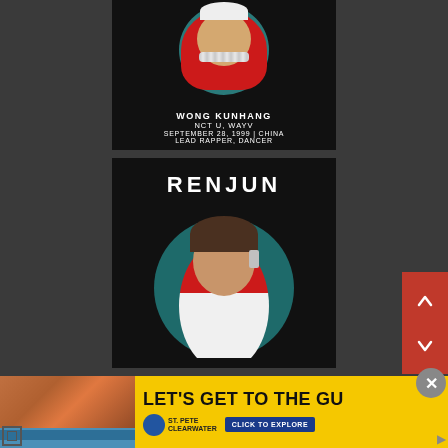[Figure (photo): Wong Kunhang profile card with photo, teal circle background, red jacket, and text info on black background]
WONG KUNHANG
NCT U, WAYV
SEPTEMBER 28, 1999 | CHINA
LEAD RAPPER, DANCER
[Figure (photo): Renjun profile card with name title, photo of young man in red jacket with teal circle background on black card]
[Figure (infographic): Red navigation arrows panel with up and down chevron arrows]
[Figure (photo): St Pete Clearwater advertisement banner with yellow background, woman at poolside photo, headline text and CTA button]